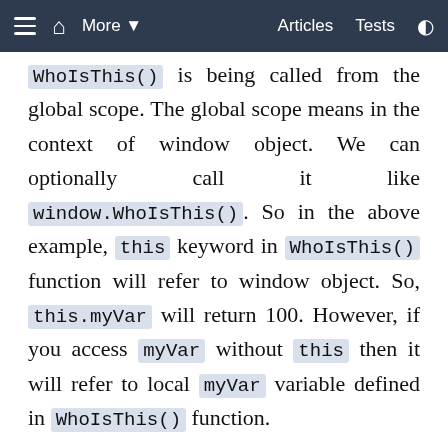≡  🏠  More ▾  Articles  Tests  ◑
WhoIsThis() is being called from the global scope. The global scope means in the context of window object. We can optionally call it like window.WhoIsThis(). So in the above example, this keyword in WhoIsThis() function will refer to window object. So, this.myVar will return 100. However, if you access myVar without this then it will refer to local myVar variable defined in WhoIsThis() function.
The following figure illustrates the above example.